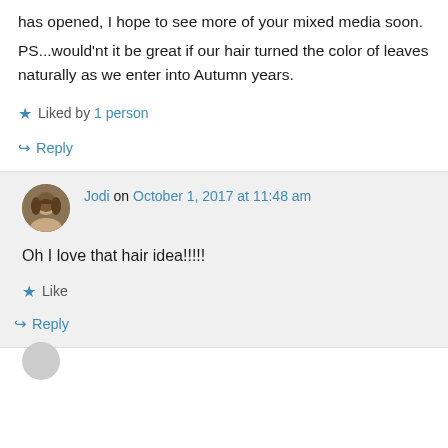has opened, I hope to see more of your mixed media soon.
PS...would'nt it be great if our hair turned the color of leaves naturally as we enter into Autumn years.
★ Liked by 1 person
↪ Reply
Jodi on October 1, 2017 at 11:48 am
Oh I love that hair idea!!!!!
★ Like
↪ Reply